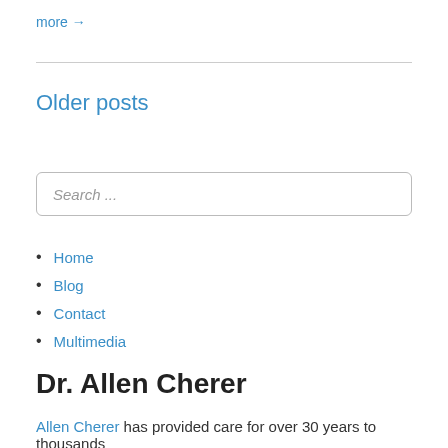more →
Older posts
Search ...
Home
Blog
Contact
Multimedia
Dr. Allen Cherer
Allen Cherer has provided care for over 30 years to thousands